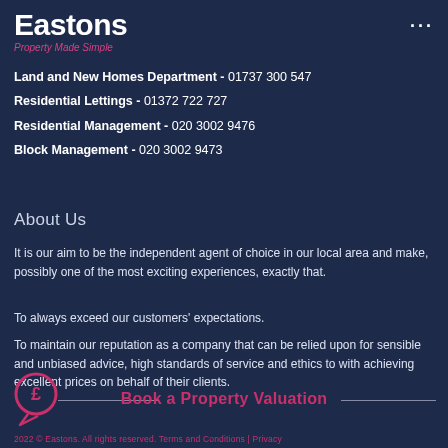Eastons
Property Made Simple
Land and New Homes Department - 01737 300 547
Residential Lettings - 01372 722 727
Residential Management - 020 3002 9476
Block Management - 020 3002 9473
About Us
It is our aim to be the independent agent of choice in our local area and make, possibly one of the most exciting experiences, exactly that.
To always exceed our customers' expectations.
To maintain our reputation as a company that can be relied upon for sensible and unbiased advice, high standards of service and ethics to with achieving excellent prices on behalf of their clients.
[Figure (illustration): A circle icon with a pound (£) symbol inside a speech bubble, representing a property valuation prompt]
Book a Property Valuation
2022 © Eastons. All rights reserved. Terms and Conditions | Privacy